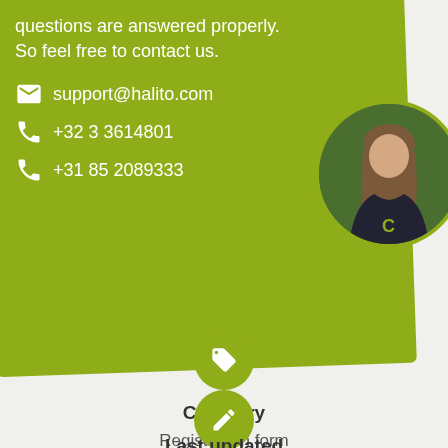questions are answered properly. So feel free to contact us.
support@halito.com
+32 3 3614801
+31 85 2089333
[Figure (photo): Circular profile photo of a woman with long hair]
[Figure (other): Green circle with tag/label icon]
Category
Registration form
Survey
[Figure (other): Green circle with pencil/edit icon]
Last updated